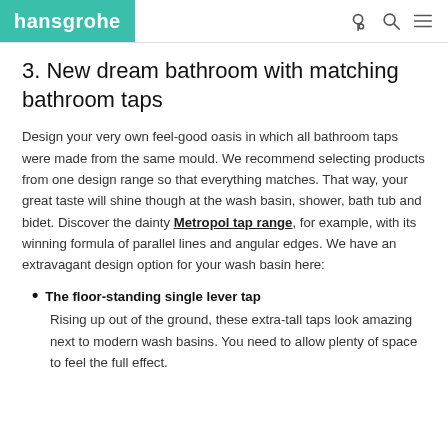hansgrohe
3. New dream bathroom with matching bathroom taps
Design your very own feel-good oasis in which all bathroom taps were made from the same mould. We recommend selecting products from one design range so that everything matches. That way, your great taste will shine though at the wash basin, shower, bath tub and bidet. Discover the dainty Metropol tap range, for example, with its winning formula of parallel lines and angular edges. We have an extravagant design option for your wash basin here:
The floor-standing single lever tap
Rising up out of the ground, these extra-tall taps look amazing next to modern wash basins. You need to allow plenty of space to feel the full effect.